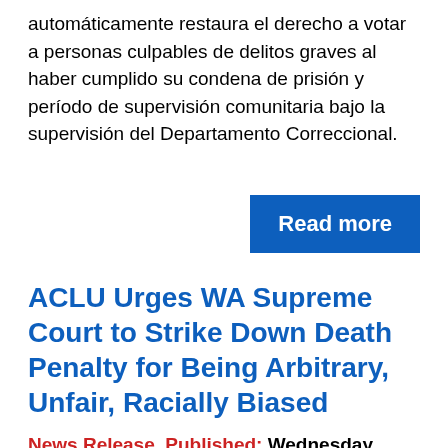automáticamente restaura el derecho a votar a personas culpables de delitos graves al haber cumplido su condena de prisión y período de supervisión comunitaria bajo la supervisión del Departamento Correccional.
[Figure (other): Blue 'Read more' button]
ACLU Urges WA Supreme Court to Strike Down Death Penalty for Being Arbitrary, Unfair, Racially Biased
News Release, Published: Wednesday, February 24, 2016